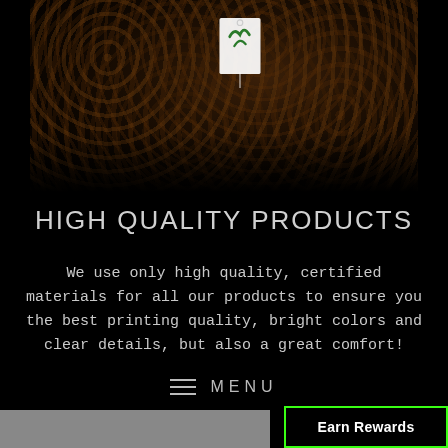[Figure (photo): Dark photo of leopard print fabric with a white tag/label visible in the center, heavily darkened at edges]
HIGH QUALITY PRODUCTS
We use only high quality, certified materials for all our products to ensure you the best printing quality, bright colors and clear details, but also a great comfort!
MENU
Earn Rewards